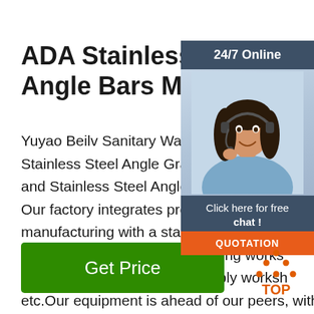ADA Stainless Steel Grab Angle Bars Manufactur...
Yuyao Beilv Sanitary Ware Co., Ltd is Ch... Stainless Steel Angle Grab Bars Manufa... and Stainless Steel Angle Grab Bars Su... Our factory integrates production and manufacturing with a stamping workshop... hardware workshop, a die-casting works... polishing workshop, an assembly worksh... etc.Our equipment is ahead of our peers, with strong cost and quality control, factory ...
[Figure (photo): Chat widget with woman wearing headset, 24/7 Online label, Click here for free chat text, and QUOTATION orange button]
[Figure (other): TOP scroll-to-top button with orange dots forming triangle above text TOP]
Get Price